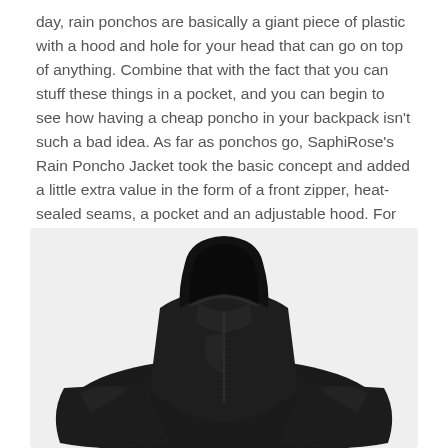day, rain ponchos are basically a giant piece of plastic with a hood and hole for your head that can go on top of anything. Combine that with the fact that you can stuff these things in a pocket, and you can begin to see how having a cheap poncho in your backpack isn't such a bad idea. As far as ponchos go, SaphiRose's Rain Poncho Jacket took the basic concept and added a little extra value in the form of a front zipper, heat-sealed seams, a pocket and an adjustable hood. For $20, throw it in your car or side backpack pocket for a rainy day. It's humble, but it just might surprise you with how much rain it keeps out.
[Figure (photo): A black rain poncho jacket with hood, displayed on a light gray background. The poncho is spread wide showing its cape-like silhouette with a front zipper and adjustable hood.]